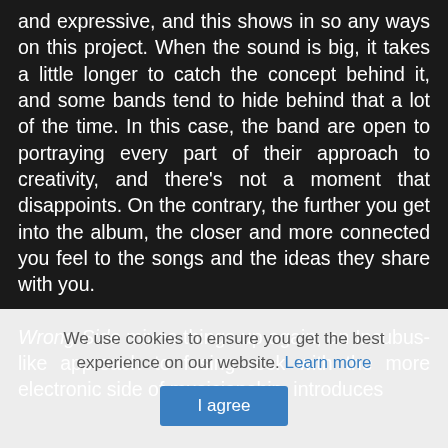and expressive, and this shows in so any ways on this project. When the sound is big, it takes a little longer to catch the concept behind it, and some bands tend to hide behind that a lot of the time. In this case, the band are open to portraying every part of their approach to creativity, and there's not a moment that disappoints. On the contrary, the further you get into the album, the closer and more connected you feel to the songs and the ideas they share with you.

Wrong Side mixes things up again, an Incubus-like approach to fusing rock with the more electronic side of musicianship, introduces
We use cookies to ensure you get the best experience on our website. Learn more
I agree